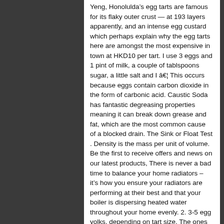Yeng, Honolulda's egg tarts are famous for its flaky outer crust — at 193 layers apparently, and an intense egg custard which perhaps explain why the egg tarts here are amongst the most expensive in town at HKD10 per tart. I use 3 eggs and 1 pint of milk, a couple of tablspoons sugar, a little salt and I â€¦ This occurs because eggs contain carbon dioxide in the form of carbonic acid. Caustic Soda has fantastic degreasing properties meaning it can break down grease and fat, which are the most common cause of a blocked drain. The Sink or Float Test . Density is the mass per unit of volume. Be the first to receive offers and news on our latest products, There is never a bad time to balance your home radiators – it's how you ensure your radiators are performing at their best and that your boiler is dispersing heated water throughout your home evenly. 2. 3-5 egg yolks, depending on tart size. The ones I've had worked like that. To find out more about the steps we're taking, read more. When enough gas is lost, the density of the egg is less than that of water and the egg floats. If you don't have a glass of water handy, you can test an egg for freshness by holding it at your ear and giving it a